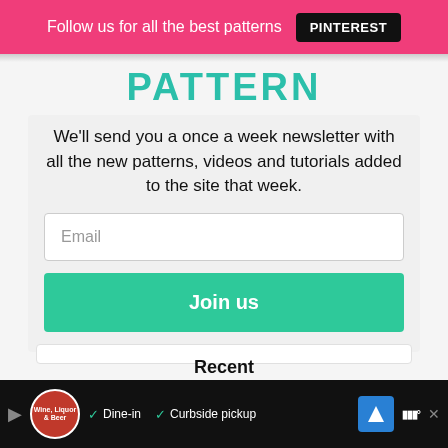Follow us for all the best patterns PINTEREST
PATTERN
We'll send you a once a week newsletter with all the new patterns, videos and tutorials added to the site that week.
Recent
[Figure (screenshot): Green/yellow gradient image strip at bottom of Recent section]
Dine-in  Curbside pickup  [ad banner with restaurant logo]